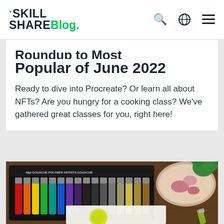SKILL SHARE Blog.
Roundup to Most Popular of June 2022
Ready to dive into Procreate? Or learn all about NFTs? Are you hungry for a cooking class? We've gathered great classes for you, right here!
[Figure (photo): Photo of gouache paint tubes in a black box alongside food ingredients in a bowl on a wooden table, with art supplies visible]